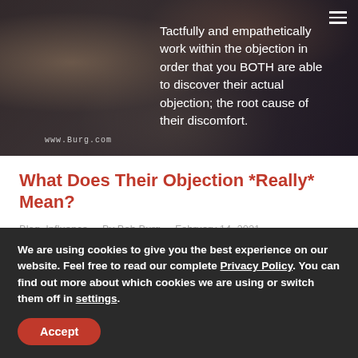[Figure (photo): Photo of two people in a meeting/conversation setting with dark overlay, showing www.Burg.com watermark. White text overlay quotes about working within objections.]
Tactfully and empathetically work within the objection in order that you BOTH are able to discover their actual objection; the root cause of their discomfort.
What Does Their Objection *Really* Mean?
Blog, Influence · By Bob Burg · February 14, 2021 · Leave a comment
Often your sales prospect's objection is not their true, actual objection but only its verbal
We are using cookies to give you the best experience on our website. Feel free to read our complete Privacy Policy. You can find out more about which cookies we are using or switch them off in settings.